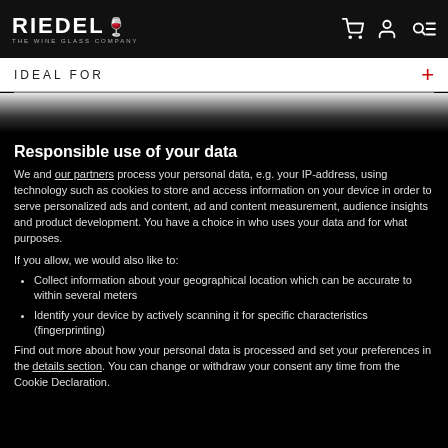RIEDEL THE WINE GLASS COMPANY
IDEAL FOR
Responsible use of your data
We and our partners process your personal data, e.g. your IP-address, using technology such as cookies to store and access information on your device in order to serve personalized ads and content, ad and content measurement, audience insights and product development. You have a choice in who uses your data and for what purposes.
If you allow, we would also like to:
Collect information about your geographical location which can be accurate to within several meters
Identify your device by actively scanning it for specific characteristics (fingerprinting)
Find out more about how your personal data is processed and set your preferences in the details section. You can change or withdraw your consent any time from the Cookie Declaration.